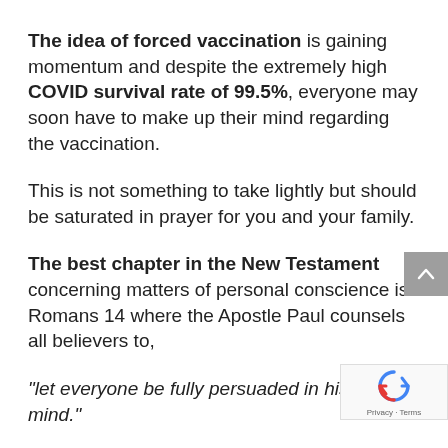The idea of forced vaccination is gaining momentum and despite the extremely high COVID survival rate of 99.5%, everyone may soon have to make up their mind regarding the vaccination.
This is not something to take lightly but should be saturated in prayer for you and your family.
The best chapter in the New Testament concerning matters of personal conscience is Romans 14 where the Apostle Paul counsels all believers to,
“let everyone be fully persuaded in his own mind.”